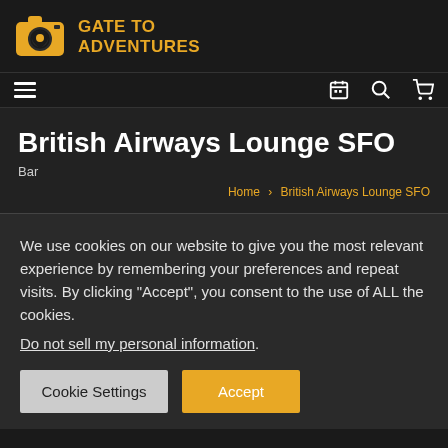[Figure (logo): Gate to Adventures logo with camera icon and location pin, golden/amber color]
GATE TO ADVENTURES
British Airways Lounge SFO
Bar
Home > British Airways Lounge SFO
We use cookies on our website to give you the most relevant experience by remembering your preferences and repeat visits. By clicking “Accept”, you consent to the use of ALL the cookies. Do not sell my personal information.